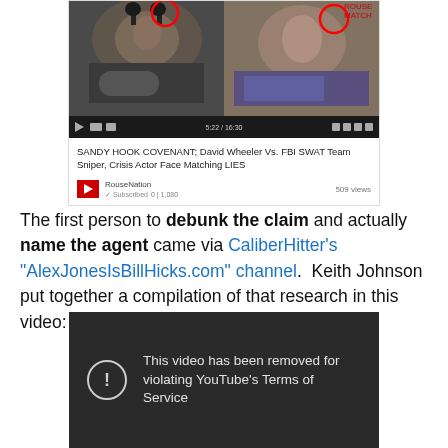[Figure (screenshot): YouTube video screenshot showing 'SANDY HOOK COVENANT; David Wheeler Vs. FBI SWAT Team Sniper, Crisis Actor Face Matching LIES' with 509 views, from RouseNation channel]
The first person to debunk the claim and actually name the agent came via CaliberHitter's "AlexJonesIsBillHicks.com" channel.  Keith Johnson put together a compilation of that research in this video:
[Figure (screenshot): YouTube video removed notice: 'This video has been removed for violating YouTube's Terms of Service']